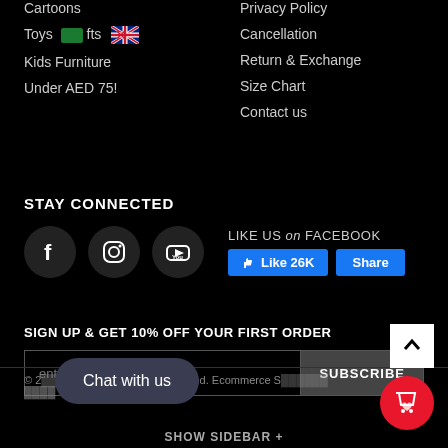Cartoons
Toys & Gifts [SA flag] [UK flag]
Kids Furniture
Under AED 75!
Privacy Policy
Cancellation
Return & Exchange
Size Chart
Contact us
STAY CONNECTED
LIKE US on FACEBOOK  Like 26K  Share
SIGN UP & GET 10% OFF YOUR FIRST ORDER
enter your email address  SUBSCRIBE
© 2[...] All Rights Reserved. Ecommerce S[...] S[...]
Chat with us
SHOW SIDEBAR +